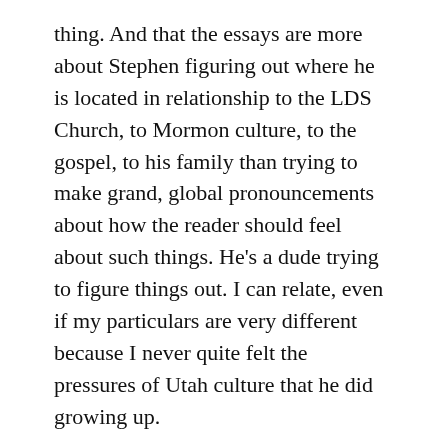thing. And that the essays are more about Stephen figuring out where he is located in relationship to the LDS Church, to Mormon culture, to the gospel, to his family than trying to make grand, global pronouncements about how the reader should feel about such things. He's a dude trying to figure things out. I can relate, even if my particulars are very different because I never quite felt the pressures of Utah culture that he did growing up.
3. I like the cover.
4. There are a few sections where the writing seems too honed and needs to loosen up and breathe a bit. Endings end too early sometimes.